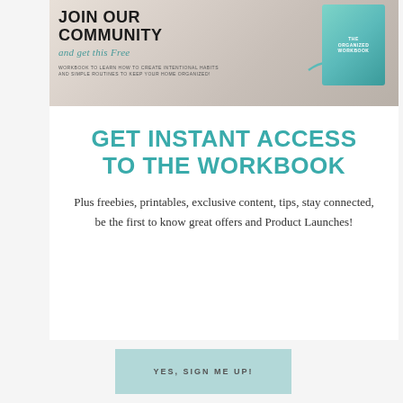[Figure (illustration): Banner image showing 'JOIN OUR COMMUNITY and get this Free WORKBOOK TO LEARN HOW TO CREATE INTENTIONAL HABITS AND SIMPLE ROUTINES TO KEEP YOUR HOME ORGANIZED!' with a book cover and teal arrow decoration]
GET INSTANT ACCESS TO THE WORKBOOK
Plus freebies, printables, exclusive content, tips, stay connected, be the first to know great offers and Product Launches!
YES, SIGN ME UP!